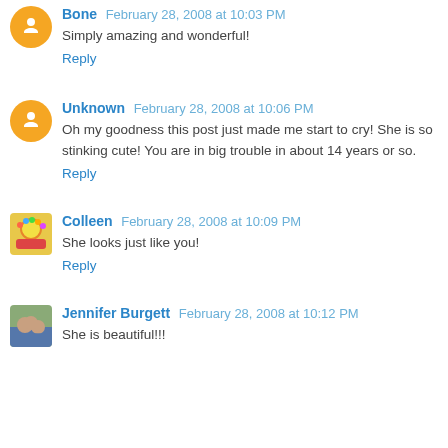Bone February 28, 2008 at 10:03 PM
Simply amazing and wonderful!
Reply
Unknown February 28, 2008 at 10:06 PM
Oh my goodness this post just made me start to cry! She is so stinking cute! You are in big trouble in about 14 years or so.
Reply
Colleen February 28, 2008 at 10:09 PM
She looks just like you!
Reply
Jennifer Burgett February 28, 2008 at 10:12 PM
She is beautiful!!!